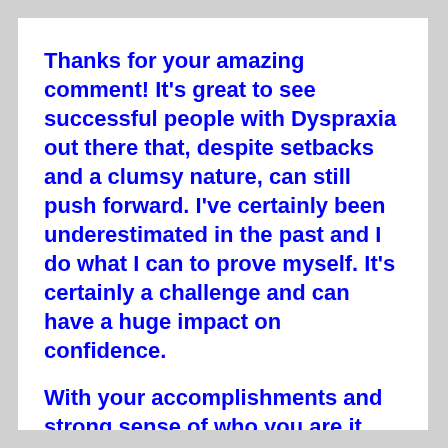Thanks for your amazing comment! It's great to see successful people with Dyspraxia out there that, despite setbacks and a clumsy nature, can still push forward. I've certainly been underestimated in the past and I do what I can to prove myself. It's certainly a challenge and can have a huge impact on confidence.
With your accomplishments and strong sense of who you are it shows that people shouldn't underestimate you or anyone else.